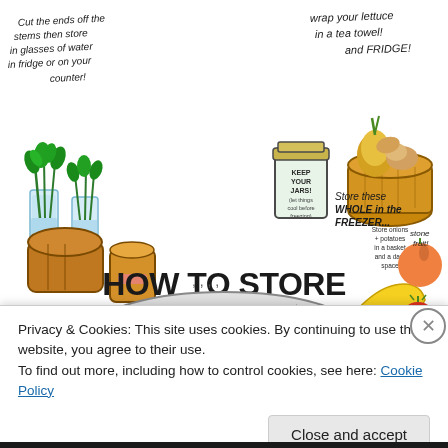[Figure (illustration): Hand-drawn infographic illustration titled 'HOW TO STORE FOOD WITHOUT PLASTIC'. Shows various food storage tips with colorful doodles: herbs in glasses of water, mason jars labeled 'KEEP YOUR JARS!', onions/potatoes in a basket, lettuce wrapped in a tea towel, bread wrapped in cloth, bananas, stone fruit, tomatoes, and a beeswax wrap roll. Tips written in casual handwriting include: 'Cut the ends off the stems then store in glasses of water in fridge or on your counter!', 'Store onions potatoes in a basket and a dark space', 'Wrap your lettuce in a tea towel! and FRIDGE!', 'Store these WHOLE in the Freezer... stone fruit! yellow bendy stick Tomatoes', 'Wrap bread in cloth (roll) and store']
Privacy & Cookies: This site uses cookies. By continuing to use this website, you agree to their use.
To find out more, including how to control cookies, see here: Cookie Policy
Close and accept